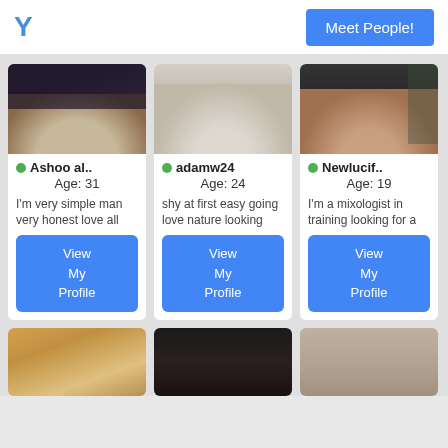Y  Meet People!
[Figure (photo): Profile photo of Ashoo al.. - person in dark dotted top]
● Ashoo al..
Age: 31
I'm very simple man very honest love all
[Figure (photo): Profile photo of adamw24 - person in white long sleeve top]
● adamw24
Age: 24
shy at first easy going love nature looking
[Figure (photo): Profile photo of Newlucif.. - person in dark top]
● Newlucif..
Age: 19
I'm a mixologist in training looking for a
[Figure (photo): Profile photo bottom row left - person with curly hair]
[Figure (photo): Profile photo bottom row center - person with blonde hair]
[Figure (photo): Profile photo bottom row right - person with dark hair]